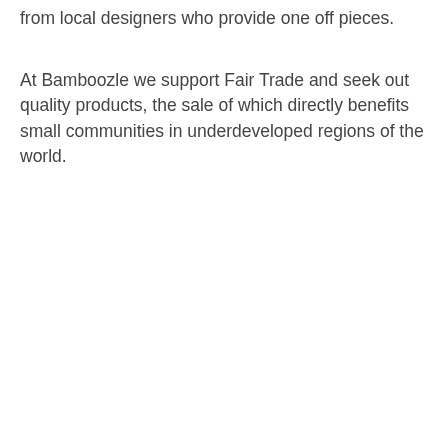from local designers who provide one off pieces.
At Bamboozle we support Fair Trade and seek out quality products, the sale of which directly benefits small communities in underdeveloped regions of the world.